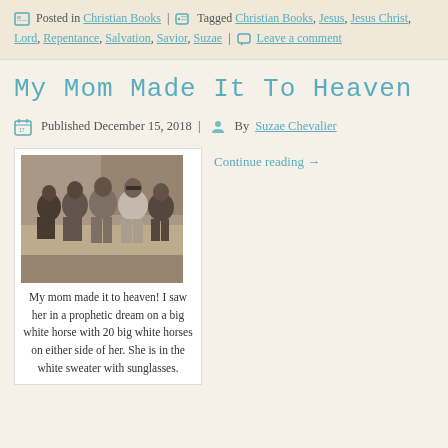Posted in Christian Books | Tagged Christian Books, Jesus, Jesus Christ, Lord, Repentance, Salvation, Savior, Suzae | Leave a comment
My Mom Made It To Heaven
Published December 15, 2018 | By Suzae Chevalier
[Figure (photo): Black and white vintage photo of a group of people (men and women) sitting outdoors]
Continue reading →
My mom made it to heaven! I saw her in a prophetic dream on a big white horse with 20 big white horses on either side of her. She is in the white sweater with sunglasses.